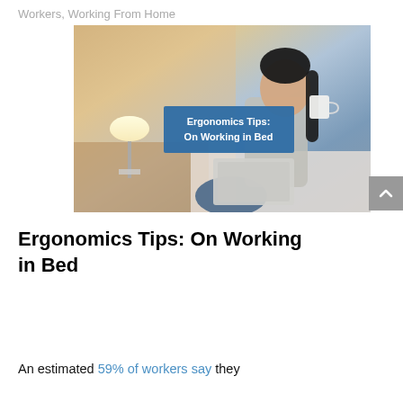Workers, Working From Home
[Figure (photo): A woman sitting in bed working on a laptop, drinking from a mug, with a bedside lamp visible. A blue overlay box reads 'Ergonomics Tips: On Working in Bed']
Ergonomics Tips: On Working in Bed
An estimated 59% of workers say they